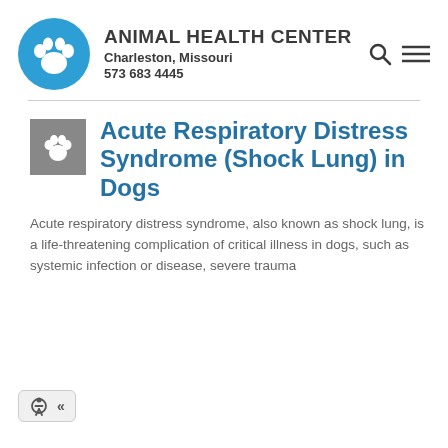[Figure (logo): Animal Health Center logo: blue circle with white paw print, followed by clinic name, location, and phone number]
Acute Respiratory Distress Syndrome (Shock Lung) in Dogs
Acute respiratory distress syndrome, also known as shock lung, is a life-threatening complication of critical illness in dogs, such as systemic infection or disease, severe trauma